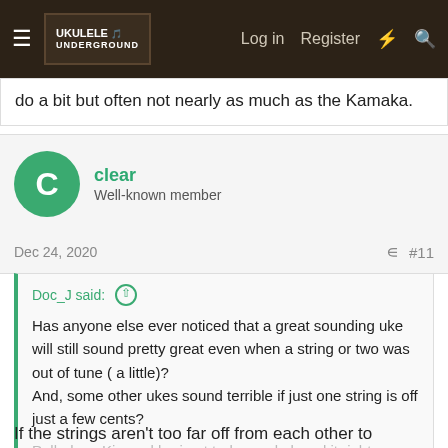Ukulele Underground — Log in  Register
do a bit but often not nearly as much as the Kamaka.
clear
Well-known member
Dec 24, 2020  #11
Doc_J said: ↑
Has anyone else ever noticed that a great sounding uke will still sound pretty great even when a string or two was out of tune ( a little)?
And, some other ukes sound terrible if just one string is off just a few cents?
Pulled my Kinnard bari out today and played it right away (not doing a tuning check). T...d fine. Then checked my
Click to expand...
If the strings aren't too far off from each other to produce